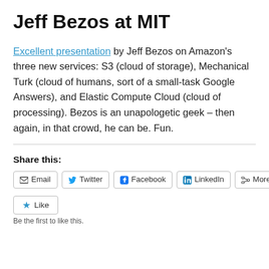Jeff Bezos at MIT
Excellent presentation by Jeff Bezos on Amazon’s three new services: S3 (cloud of storage), Mechanical Turk (cloud of humans, sort of a small-task Google Answers), and Elastic Compute Cloud (cloud of processing). Bezos is an unapologetic geek – then again, in that crowd, he can be. Fun.
Share this:
Email  Twitter  Facebook  LinkedIn  More
Like
Be the first to like this.